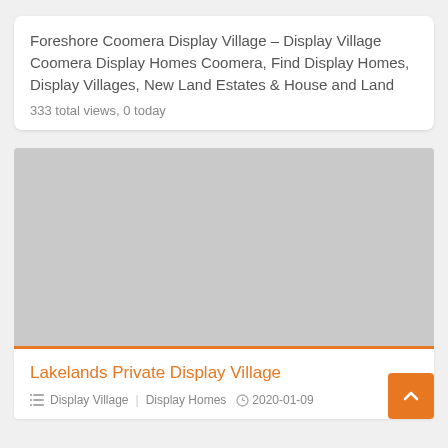Foreshore Coomera Display Village – Display Village Coomera Display Homes Coomera, Find Display Homes, Display Villages, New Land Estates & House and Land
333 total views, 0 today
[Figure (photo): Gray placeholder image rectangle with an orange bottom border, representing a thumbnail for a display village listing]
Lakelands Private Display Village
Display Village  |  Display Homes  2020-01-09